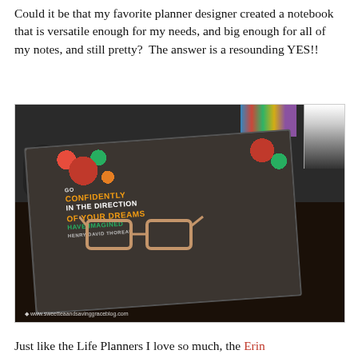Could it be that my favorite planner designer created a notebook that is versatile enough for my needs, and big enough for all of my notes, and still pretty?  The answer is a resounding YES!!
[Figure (photo): Photo of a decorative spiral-bound notebook on a dark table with glasses resting on top, a computer mouse to the left, and colorful markers/pens in the background. The notebook cover is dark with colorful floral designs and text reading 'GO CONFIDENTLY IN THE DIRECTION OF YOUR DREAMS HAVE IMAGINED - HENRY DAVID THOREAU'. Watermark reads www.sweetteaandsavinggraceblog.com]
Just like the Life Planners I love so much, the Erin